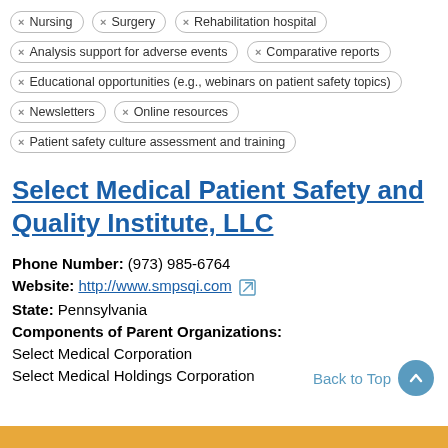× Nursing
× Surgery
× Rehabilitation hospital
× Analysis support for adverse events
× Comparative reports
× Educational opportunities (e.g., webinars on patient safety topics)
× Newsletters
× Online resources
× Patient safety culture assessment and training
Select Medical Patient Safety and Quality Institute, LLC
Phone Number: (973) 985-6764
Website: http://www.smpsqi.com
State: Pennsylvania
Components of Parent Organizations:
Select Medical Corporation
Select Medical Holdings Corporation